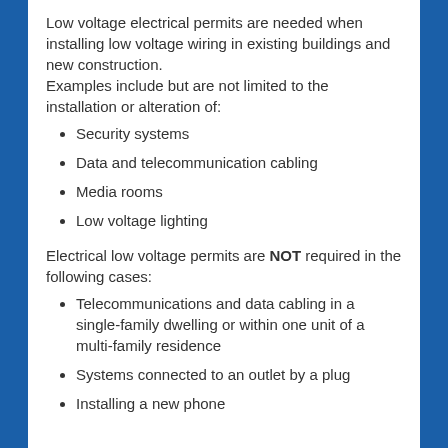Low voltage electrical permits are needed when installing low voltage wiring in existing buildings and new construction.
Examples include but are not limited to the installation or alteration of:
Security systems
Data and telecommunication cabling
Media rooms
Low voltage lighting
Electrical low voltage permits are NOT required in the following cases:
Telecommunications and data cabling in a single-family dwelling or within one unit of a multi-family residence
Systems connected to an outlet by a plug
Installing a new phone